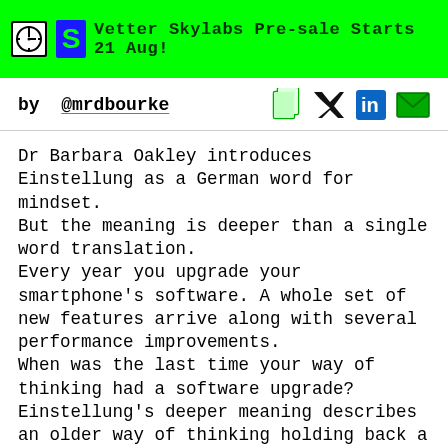Vetter Skylabs Pre-sale Starts 21 Aug!
by @mrdbourke
Dr Barbara Oakley introduces Einstellung as a German word for mindset.
But the meaning is deeper than a single word translation.
Every year you upgrade your smartphone's software. A whole set of new features arrive along with several performance improvements.
When was the last time your way of thinking had a software upgrade?
Einstellung's deeper meaning describes an older way of thinking holding back a newer, better way of thinking.